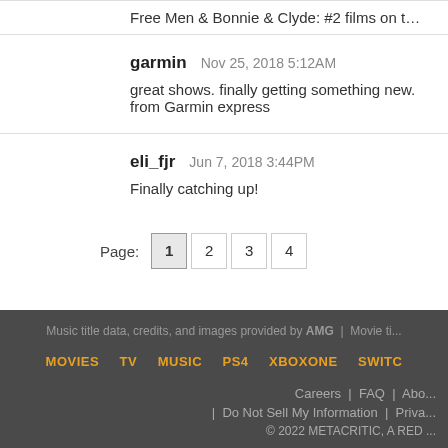Free Men & Bonnie & Clyde: #2 films on the American Film Institute...
garmin   Nov 25, 2018 5:12AM
great shows. finally getting something new. from Garmin express
eli_fjr   Jun 7, 2018 3:44PM
Finally catching up!
Page: 1 2 3 4
Music title data, credits, and images provided by AMG | Movie ti... | MOVIES TV MUSIC PS4 XBOXONE SWITC... | Careers | FAQ | Abo... | Do Not Sell My Information | Priva... | © 2022 METACRITIC, A RED ...